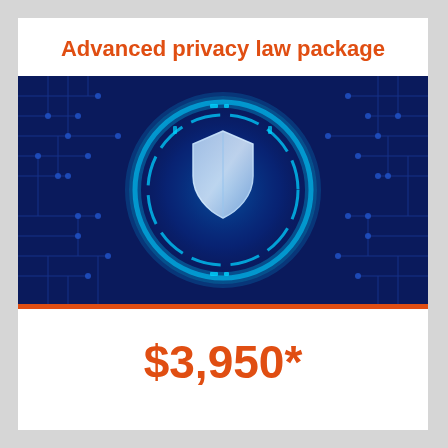Advanced privacy law package
[Figure (illustration): Digital privacy/cybersecurity illustration showing a glowing shield icon centered inside a circular tech ring, set against a dark blue circuit board background with blue circuit traces and nodes.]
$3,950*